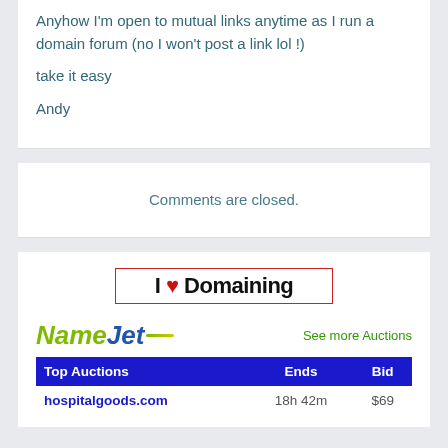Anyhow I'm open to mutual links anytime as I run a domain forum (no I won't post a link lol !)

take it easy

Andy
Comments are closed.
[Figure (logo): I Love Domaining logo with red heart and stylized text inside a red border rectangle]
[Figure (logo): NameJet logo with green and blue italic text and a yellow-green dash accent, with 'See more Auctions' link]
| Top Auctions | Ends | Bid |
| --- | --- | --- |
| hospitalgoods.com | 18h 42m | $69 |